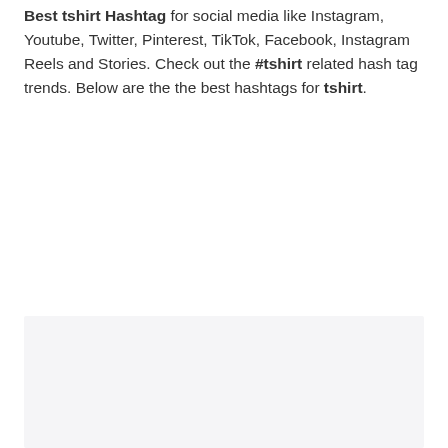Best tshirt Hashtag for social media like Instagram, Youtube, Twitter, Pinterest, TikTok, Facebook, Instagram Reels and Stories. Check out the #tshirt related hash tag trends. Below are the the best hashtags for tshirt.